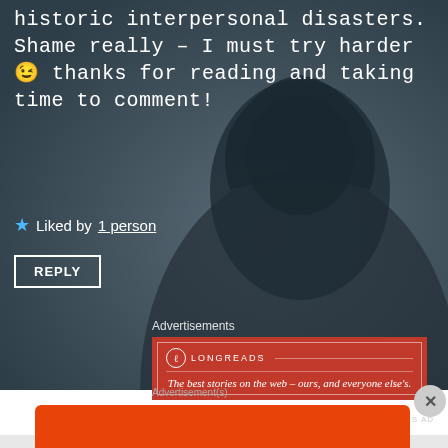historic interpersonal disasters. Shame really – I must try harder 😉 thanks for reading and taking time to comment!
★ Liked by 1 person
REPLY
Advertisements
[Figure (infographic): Longreads advertisement banner: red background with white text 'The best stories on the web – ours, and everyone else's.']
REPORT THIS AD
Advertisement(s)
[Figure (infographic): DuckDuckGo advertisement: orange/red background with white text 'Search, browse, and email with more privacy. All in One Free App' with a phone image showing the DuckDuckGo app and DuckDuckGo. branding.]